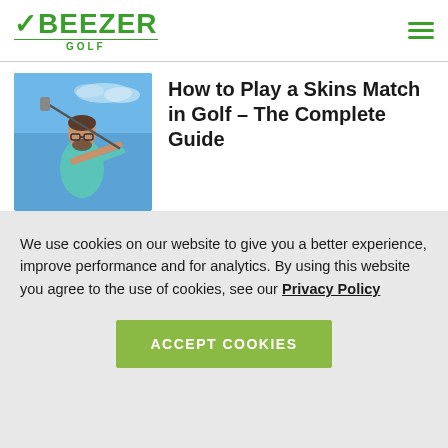[Figure (logo): Beezer Golf logo - green text with checkmark icon and GOLF subtitle]
[Figure (photo): Golfer in teal shirt mid-swing against blue sky background]
How to Play a Skins Match in Golf – The Complete Guide
We use cookies on our website to give you a better experience, improve performance and for analytics. By using this website you agree to the use of cookies, see our Privacy Policy
ACCEPT COOKIES